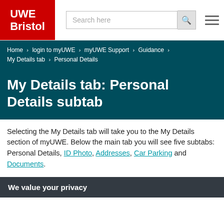[Figure (logo): UWE Bristol red logo with white text]
Search here
Home › login to myUWE › myUWE Support › Guidance › My Details tab › Personal Details
My Details tab: Personal Details subtab
Selecting the My Details tab will take you to the My Details section of myUWE. Below the main tab you will see five subtabs: Personal Details, ID Photo, Addresses, Car Parking and Documents.
We value your privacy